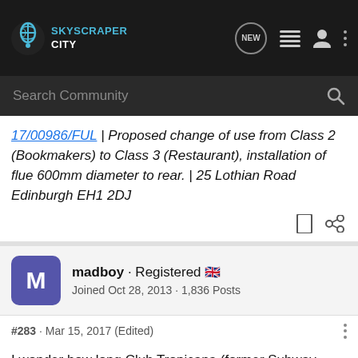SkyscraperCity - Navigation bar with search
17/00986/FUL | Proposed change of use from Class 2 (Bookmakers) to Class 3 (Restaurant), installation of flue 600mm diameter to rear. | 25 Lothian Road Edinburgh EH1 2DJ
madboy · Registered
Joined Oct 28, 2013 · 1,836 Posts
#283 · Mar 15, 2017 (Edited)
I wonder how long Club Tropicana (former Subway West End) will be around for, given that Stereo on King Stables round the corner will be gone soon and other establishments nearby have closed.